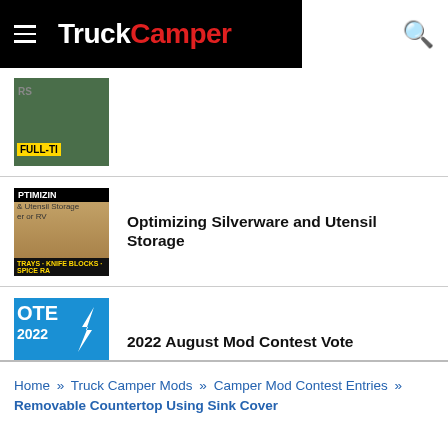TruckCamper
[Figure (photo): Thumbnail image of a truck with FULL-TI text visible]
[Figure (photo): Thumbnail image showing PTIMIZIN text with utensil storage content]
Optimizing Silverware and Utensil Storage
[Figure (photo): Thumbnail showing OTE 2022 IRONM text - August Mod Contest Vote image]
2022 August Mod Contest Vote
Home » Truck Camper Mods » Camper Mod Contest Entries » Removable Countertop Using Sink Cover